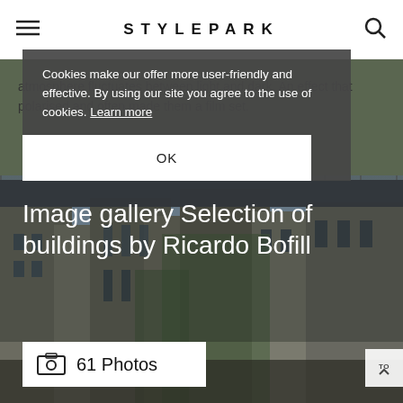STYLEPARK
atmosphere fluctuates between light and dark. An effect that polarised and often made them a film set.
Cookies make our offer more user-friendly and effective. By using our site you agree to the use of cookies. Learn more
OK
[Figure (photo): Architectural photo of buildings by Ricardo Bofill, showing concrete modernist structures with ivy/greenery growing on them, dramatic contrasting light and shadow]
Image gallery Selection of buildings by Ricardo Bofill
61 Photos